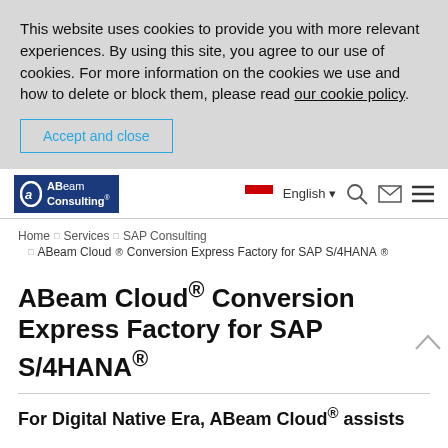This website uses cookies to provide you with more relevant experiences. By using this site, you agree to our use of cookies. For more information on the cookies we use and how to delete or block them, please read our cookie policy.
Accept and close
[Figure (logo): ABeam Consulting logo — blue rectangle with white stylized 'A' icon and ABeam Consulting text]
English
Home › Services › SAP Consulting
› ABeam Cloud® Conversion Express Factory for SAP S/4HANA®
ABeam Cloud® Conversion Express Factory for SAP S/4HANA®
For Digital Native Era, ABeam Cloud® assists